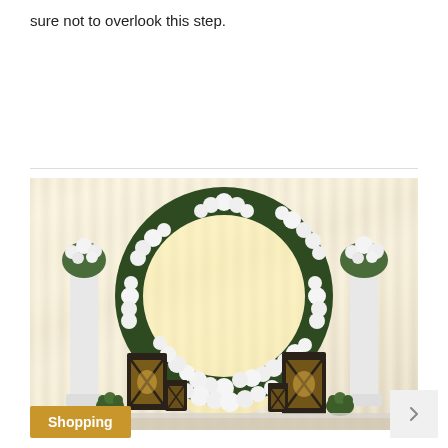sure not to overlook this step.
[Figure (photo): Wedding ceremony backdrop featuring a large circular floral arch made of white flowers and green foliage, flanked by tall black lanterns with candles and floral arrangements on pedestals, against a white draped curtain background.]
Shopping